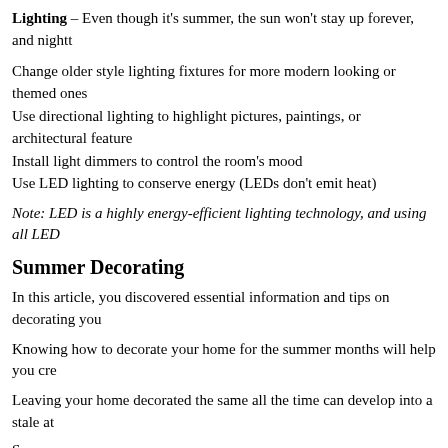Lighting – Even though it's summer, the sun won't stay up forever, and nightt…
Change older style lighting fixtures for more modern looking or themed ones
Use directional lighting to highlight pictures, paintings, or architectural features
Install light dimmers to control the room's mood
Use LED lighting to conserve energy (LEDs don't emit heat)
Note: LED is a highly energy-efficient lighting technology, and using all LED…
Summer Decorating
In this article, you discovered essential information and tips on decorating you…
Knowing how to decorate your home for the summer months will help you cre…
Leaving your home decorated the same all the time can develop into a stale at…
Sources:
nyiad.edu/design-articles/interior-design/nine-home-decor-tips-for-summe…
energy.gov/energysaver/led-lighting